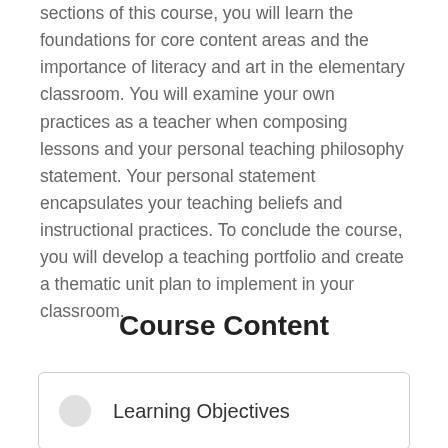sections of this course, you will learn the foundations for core content areas and the importance of literacy and art in the elementary classroom. You will examine your own practices as a teacher when composing lessons and your personal teaching philosophy statement. Your personal statement encapsulates your teaching beliefs and instructional practices. To conclude the course, you will develop a teaching portfolio and create a thematic unit plan to implement in your classroom.
Course Content
Learning Objectives